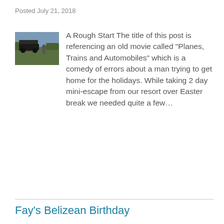Posted July 21, 2018
[Figure (photo): Thumbnail photo of a vehicle on a dirt road with a person standing nearby]
A Rough Start The title of this post is referencing an old movie called "Planes, Trains and Automobiles" which is a comedy of errors about a man trying to get home for the holidays. While taking 2 day mini-escape from our resort over Easter break we needed quite a few…
MORE
Fay's Belizean Birthday